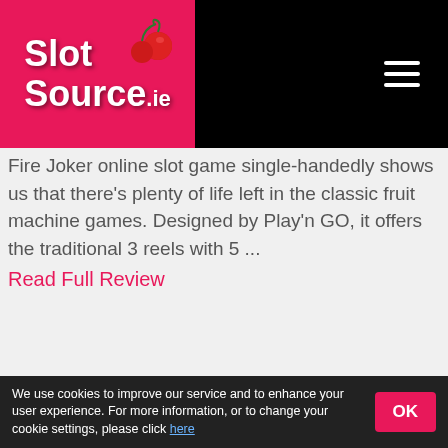[Figure (logo): SlotSource.ie logo with cherries on pink/red background, hamburger menu icon on black background]
Fire Joker online slot game single-handedly shows us that there's plenty of life left in the classic fruit machine games. Designed by Play'n GO, it offers the traditional 3 reels with 5 ...
Read Full Review
Play Fire Joker for Free Now!
★ Bookmark it for later
[Figure (screenshot): Fire Joker slot game screenshot showing 'FIRE JOKER' title text and 'WHEEL OF MULTIPLIERS' game screen on dark background]
We use cookies to improve our service and to enhance your user experience. For more information, or to change your cookie settings, please click here